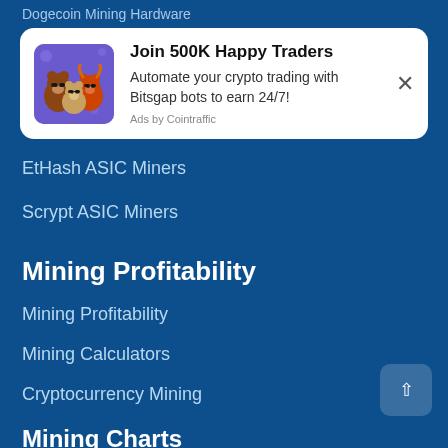Dogecoin Mining Hardware
[Figure (infographic): Advertisement banner: cartoon animals (bull, bear, dog) on purple background with text 'Join 500K Happy Traders - Automate your crypto trading with Bitsgap bots to earn 24/7! Ads by Cointraffic']
EtHash ASIC Miners
Scrypt ASIC Miners
Mining Profitability
Mining Profitability
Mining Calculators
Cryptocurrency Mining
Mining Charts
Difficulty Charts
Hashrate Charts
Price Charts